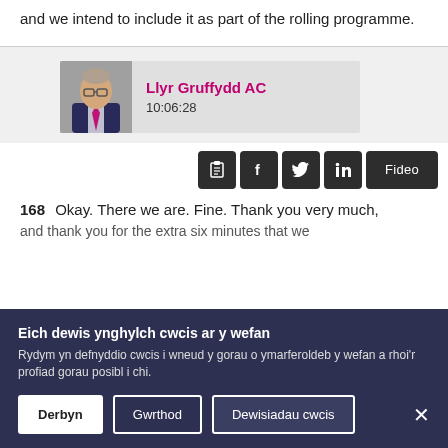and we intend to include it as part of the rolling programme.
[Figure (photo): Portrait photo of Llyr Gruffydd AC with name and timestamp 10:06:28]
[Figure (infographic): Social sharing icon buttons: clipboard, Facebook, Twitter, LinkedIn, and Fideo button]
168  Okay. There we are. Fine. Thank you very much, and thank you for the extra six minutes that we
Eich dewis ynghylch cwcis ar y wefan
Rydym yn defnyddio cwcis i wneud y gorau o ymarferoldeb y wefan a rhoi'r profiad gorau posibl i chi.
Derbyn  Gwrthod  Dewisiadau cwcis